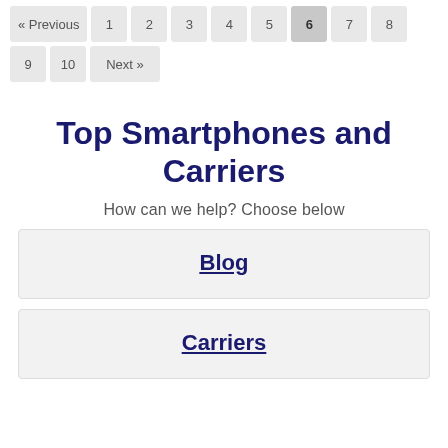« Previous 1 2 3 4 5 6 7 8 9 10 Next »
Top Smartphones and Carriers
How can we help? Choose below
Blog
Carriers